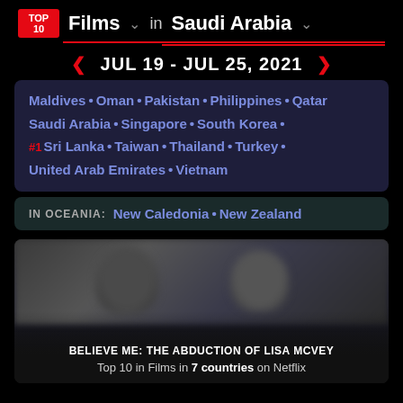TOP 10 Films ▾ in Saudi Arabia ▾
JUL 19 - JUL 25, 2021
Maldives · Oman · Pakistan · Philippines · Qatar · Saudi Arabia · Singapore · South Korea · #1 Sri Lanka · Taiwan · Thailand · Turkey · United Arab Emirates · Vietnam
IN OCEANIA: New Caledonia · New Zealand
BELIEVE ME: THE ABDUCTION OF LISA MCVEY
Top 10 in Films in 7 countries on Netflix